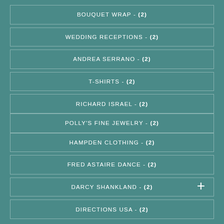BOUQUET WRAP - (2)
WEDDING RECEPTIONS - (2)
ANDREA SERRANO - (2)
T-SHIRTS - (2)
RICHARD ISRAEL - (2)
POLLY'S FINE JEWELRY - (2)
HAMPDEN CLOTHING - (2)
FRED ASTAIRE DANCE - (2)
DARCY SHANKLAND - (2)
DIRECTIONS USA - (2)